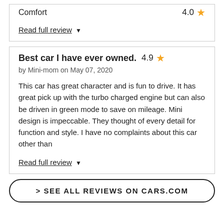Comfort   4.0 ★
Read full review ▼
Best car I have ever owned.  4.9 ★
by Mini-mom on May 07, 2020
This car has great character and is fun to drive. It has great pick up with the turbo charged engine but can also be driven in green mode to save on mileage. Mini design is impeccable. They thought of every detail for function and style. I have no complaints about this car other than
Read full review ▼
> SEE ALL REVIEWS ON CARS.COM